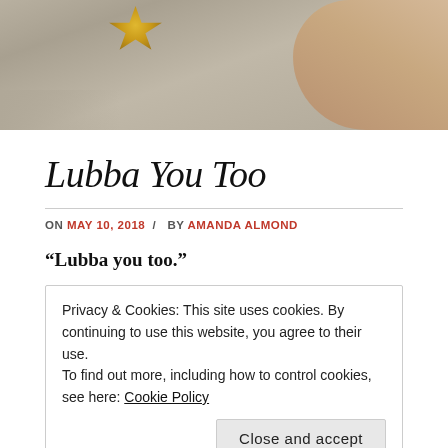[Figure (photo): Photo showing a glittery gold star decoration on grey fabric with a hand visible at the right edge, cropped at the top of the page.]
Lubba You Too
ON MAY 10, 2018 / BY AMANDA ALMOND
“Lubba you too.”
Privacy & Cookies: This site uses cookies. By continuing to use this website, you agree to their use.
To find out more, including how to control cookies, see here: Cookie Policy
Close and accept
“ tar” pillow, and drifts off to sleep.